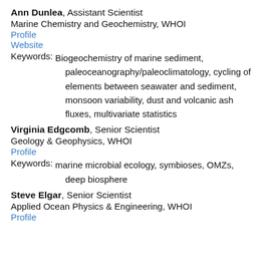Ann Dunlea, Assistant Scientist
Marine Chemistry and Geochemistry, WHOI
Profile
Website
Keywords: Biogeochemistry of marine sediment, paleoceanography/paleoclimatology, cycling of elements between seawater and sediment, monsoon variability, dust and volcanic ash fluxes, multivariate statistics
Virginia Edgcomb, Senior Scientist
Geology & Geophysics, WHOI
Profile
Keywords: marine microbial ecology, symbioses, OMZs, deep biosphere
Steve Elgar, Senior Scientist
Applied Ocean Physics & Engineering, WHOI
Profile